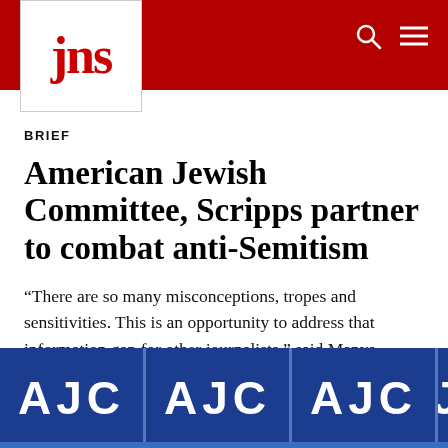jns
BRIEF
American Jewish Committee, Scripps partner to combat anti-Semitism
“There are so many misconceptions, tropes and sensitivities. This is an opportunity to address that information gap for other journalists,” said Manya Brachear Pashman.
[Figure (photo): Repeating AJC (American Jewish Committee) logo banners on a blue background, partially cropped at the bottom of the page.]